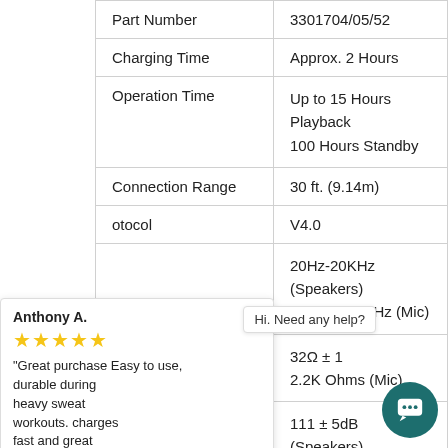| Specification | Value |
| --- | --- |
| Part Number | 3301704/05/52 |
| Charging Time | Approx. 2 Hours |
| Operation Time | Up to 15 Hours Playback
100 Hours Standby |
| Connection Range | 30 ft. (9.14m) |
| [Bluetooth Pr]otocol | V4.0 |
| [Frequency Response] | 20Hz-20KHz (Speakers)
100Hz - 10KHz (Mic) |
| [Impedance] | 32Ω ± 1
2.2K Ohms (Mic) |
| [Sensitivity] | 111 ± 5dB (Speakers)
-42 ± 4dB (Mic) |
Anthony A. ★★★★★ "Great purchase Easy to use, durable during heavy sweat workouts. charges fast and great sound. Good buy
NCredible1 Wireless Bl...